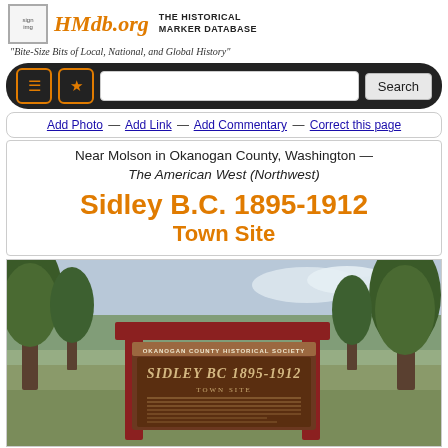HMdb.org THE HISTORICAL MARKER DATABASE
"Bite-Size Bits of Local, National, and Global History"
Add Photo — Add Link — Add Commentary — Correct this page
Near Molson in Okanogan County, Washington — The American West (Northwest)
Sidley B.C. 1895-1912 Town Site
[Figure (photo): Photo of a wooden historical marker sign reading 'Sidley BC 1895-1912 Town Site' erected by Okanogan County Historical Society, with trees in the background.]